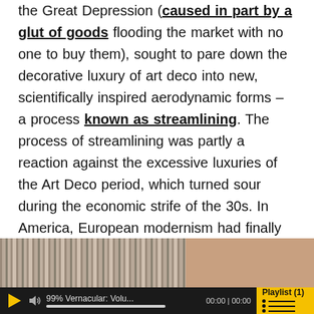the Great Depression (caused in part by a glut of goods flooding the market with no one to buy them), sought to pare down the decorative luxury of art deco into new, scientifically inspired aerodynamic forms – a process known as streamlining. The process of streamlining was partly a reaction against the excessive luxuries of the Art Deco period, which turned sour during the economic strife of the 30s. In America, European modernism had finally taken root in the imagination of architects and designers, who sought to emulate its sleek, rational aesthetic.
[Figure (screenshot): A media player bar overlaid on an image showing book spines on the left and a warm-toned surface on the right. The player shows a play button, volume icon, track name '99% Vernacular: Volu...', a progress bar, time display '00:00 | 00:00', and a yellow 'Playlist (1)' button.]